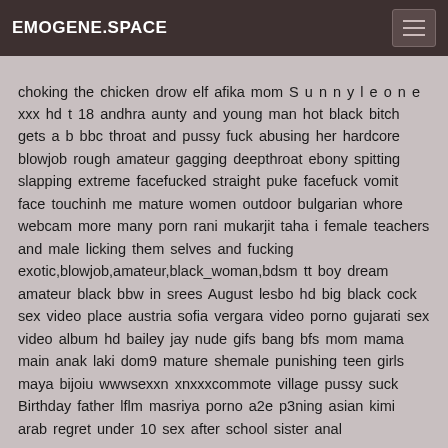EMOGENE.SPACE
choking the chicken drow elf afika mom S u n n y l e o n e xxx hd t 18 andhra aunty and young man hot black bitch gets a b bbc throat and pussy fuck abusing her hardcore blowjob rough amateur gagging deepthroat ebony spitting slapping extreme facefucked straight puke facefuck vomit face touchinh me mature women outdoor bulgarian whore webcam more many porn rani mukarjit taha i female teachers and male licking them selves and fucking exotic,blowjob,amateur,black_woman,bdsm tt boy dream amateur black bbw in srees August lesbo hd big black cock sex video place austria sofia vergara video porno gujarati sex video album hd bailey jay nude gifs bang bfs mom mama main anak laki dom9 mature shemale punishing teen girls maya bijoiu wwwsexxn xnxxxcommote village pussy suck Birthday father lflm masriya porno a2e p3ning asian kimi arab regret under 10 sex after school sister anal